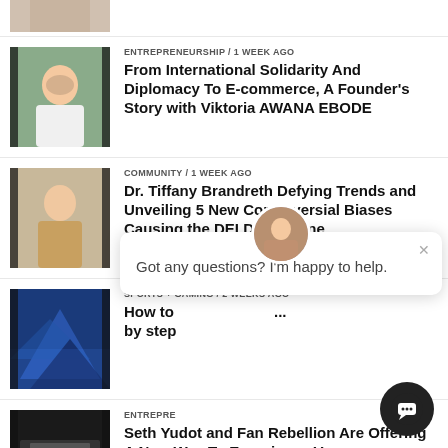[Figure (photo): Partial article thumbnail at top]
[Figure (photo): Portrait of Viktoria Awana Ebode in white top]
ENTREPRENEURSHIP / 1 week ago
From International Solidarity And Diplomacy To E-commerce, A Founder's Story with Viktoria AWANA EBODE
[Figure (photo): Woman in grey top and orange pants]
COMMUNITY / 1 week ago
Dr. Tiffany Brandreth Defying Trends and Unveiling 5 New Controversial Biases Causing the DEI Death Zone
[Figure (photo): Blue abstract art / landscape photo]
SPORTS + GAMING / 2 weeks ago
How to... [partially obscured by chat overlay] step by step
[Figure (photo): Dark stage with people and screen]
ENTREPRENEURSHIP
Seth Yudot and Fan Rebellion Are Offering A New Way To Experience Vegas
[Figure (photo): Partial thumbnail at bottom - woman with blonde hair]
ENTREPRENEURSHIP / 2 weeks ago
[Figure (screenshot): Chat overlay with avatar, close button, and message: Got any questions? I'm happy to help.]